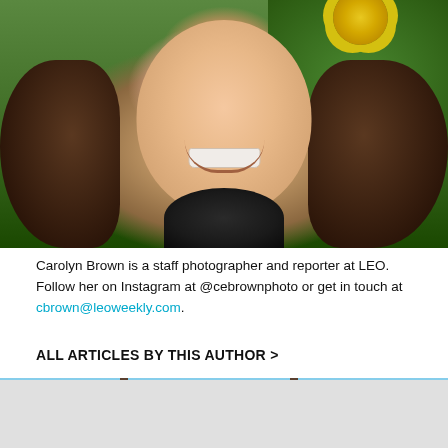[Figure (photo): Close-up photo of a young woman with curly brown hair smiling, yellow flower in background, green foliage on right side, wearing dark top]
Carolyn Brown is a staff photographer and reporter at LEO. Follow her on Instagram at @cebrownphoto or get in touch at cbrown@leoweekly.com.
ALL ARTICLES BY THIS AUTHOR >
[Figure (photo): Street scene with utility poles and power lines against blue sky, green structure in foreground, TOP STORIES badge on left, LEO logo on right]